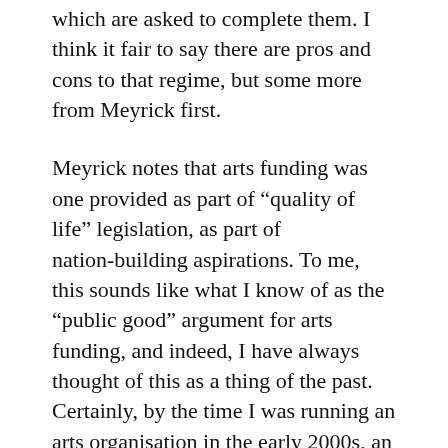which are asked to complete them. I think it fair to say there are pros and cons to that regime, but some more from Meyrick first.
Meyrick notes that arts funding was one provided as part of “quality of life” legislation, as part of nation-building aspirations. To me, this sounds like what I know of as the “public good” argument for arts funding, and indeed, I have always thought of this as a thing of the past. Certainly, by the time I was running an arts organisation in the early 2000s, an organisation simply existing as a way of providing cultural benefits alone, was not an argument funding bodies supported.
(There is a notable anecdote which illustrates